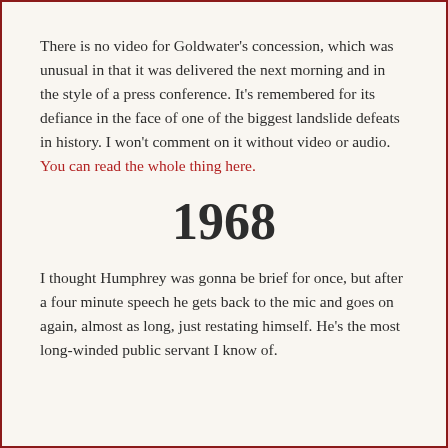There is no video for Goldwater's concession, which was unusual in that it was delivered the next morning and in the style of a press conference. It's remembered for its defiance in the face of one of the biggest landslide defeats in history. I won't comment on it without video or audio. You can read the whole thing here.
1968
I thought Humphrey was gonna be brief for once, but after a four minute speech he gets back to the mic and goes on again, almost as long, just restating himself. He's the most long-winded public servant I know of.